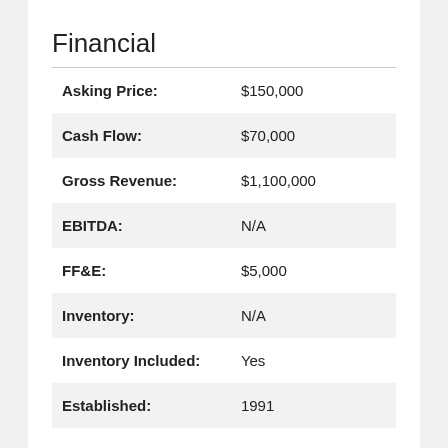Financial
| Field | Value |
| --- | --- |
| Asking Price: | $150,000 |
| Cash Flow: | $70,000 |
| Gross Revenue: | $1,100,000 |
| EBITDA: | N/A |
| FF&E: | $5,000 |
| Inventory: | N/A |
| Inventory Included: | Yes |
| Established: | 1991 |